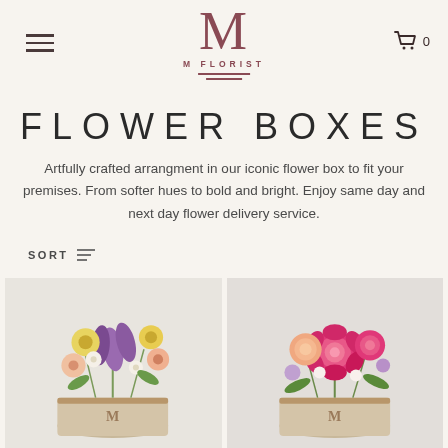[Figure (logo): M Florist logo with stylized M letter in mauve/rose color, text 'M FLORIST' below with two horizontal lines]
FLOWER BOXES
Artfully crafted arrangment in our iconic flower box to fit your premises. From softer hues to bold and bright. Enjoy same day and next day flower delivery service.
SORT
[Figure (photo): Flower box arrangement with pastel flowers including yellow, peach, and purple tulips in a beige cylindrical box with M logo]
[Figure (photo): Flower box arrangement with vibrant pink roses and mixed flowers in a beige cylindrical box with M logo]